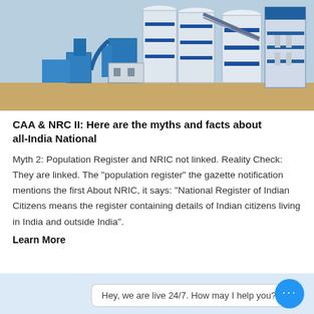[Figure (photo): Industrial facility with large white and blue cylindrical silos/storage tanks and building structures against a clear sky.]
CAA & NRC II: Here are the myths and facts about all-India National
Myth 2: Population Register and NRIC not linked. Reality Check: They are linked. The "population register" the gazette notification mentions the first About NRIC, it says: "National Register of Indian Citizens means the register containing details of Indian citizens living in India and outside India".
Learn More
Hey, we are live 24/7. How may I help you?